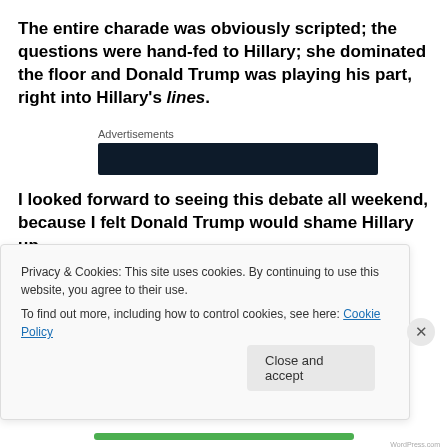The entire charade was obviously scripted; the questions were hand-fed to Hillary; she dominated the floor and Donald Trump was playing his part, right into Hillary's lines.
Advertisements
[Figure (other): Dark advertisement banner]
I looked forward to seeing this debate all weekend, because I felt Donald Trump would shame Hillary up one side and down the other, as he so valiantly does
Privacy & Cookies: This site uses cookies. By continuing to use this website, you agree to their use.
To find out more, including how to control cookies, see here: Cookie Policy
Close and accept